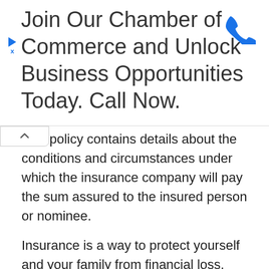[Figure (other): Advertisement banner: 'Join Our Chamber of Commerce and Unlock Business Opportunities Today. Call Now.' with phone icon and ad close/play icons on the left.]
ince policy contains details about the conditions and circumstances under which the insurance company will pay the sum assured to the insured person or nominee.
Insurance is a way to protect yourself and your family from financial loss. Generally, the premium is very low in terms of money paid for a large insurance cover. The insurance company risks providing a higher cover for smaller premiums because very few insured people actually claim insurance. This is why you get insurance for a large amount at a low cost.
Any person or company can take insurance from the